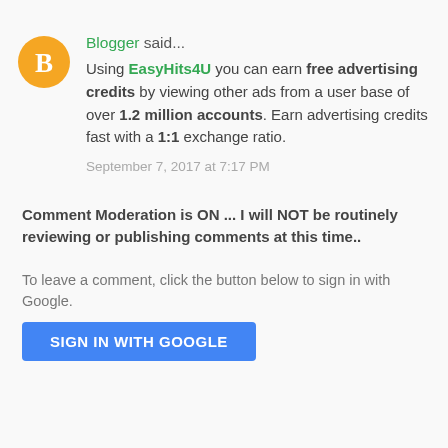Days!
August 18, 2017 at 1:39 PM
Blogger said...
Using EasyHits4U you can earn free advertising credits by viewing other ads from a user base of over 1.2 million accounts. Earn advertising credits fast with a 1:1 exchange ratio.
September 7, 2017 at 7:17 PM
Comment Moderation is ON ... I will NOT be routinely reviewing or publishing comments at this time..
To leave a comment, click the button below to sign in with Google.
SIGN IN WITH GOOGLE